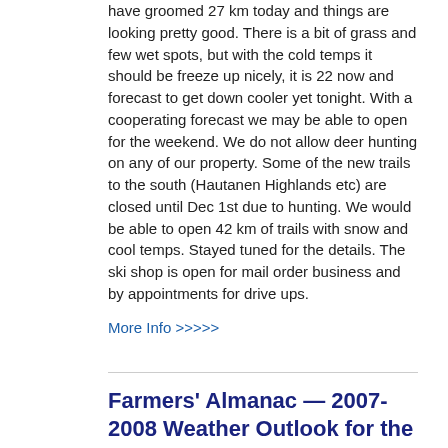have groomed 27 km today and things are looking pretty good. There is a bit of grass and few wet spots, but with the cold temps it should be freeze up nicely, it is 22 now and forecast to get down cooler yet tonight. With a cooperating forecast we may be able to open for the weekend. We do not allow deer hunting on any of our property. Some of the new trails to the south (Hautanen Highlands etc) are closed until Dec 1st due to hunting. We would be able to open 42 km of trails with snow and cool temps. Stayed tuned for the details. The ski shop is open for mail order business and by appointments for drive ups.
More Info >>>>>
Farmers' Almanac — 2007-2008 Weather Outlook for the U.S.
[Figure (photo): Small thumbnail image placeholder]
Farmers' Almanac Releases a Two-Faced or Split Personality Weather Forecast
Cold and snowy weather should also prevail over the Great Lakes region.